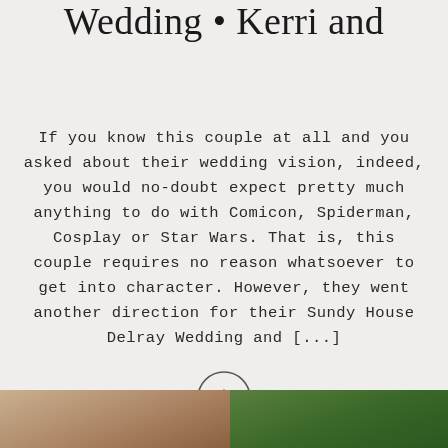Wedding • Kerri and
If you know this couple at all and you asked about their wedding vision, indeed, you would no-doubt expect pretty much anything to do with Comicon, Spiderman, Cosplay or Star Wars. That is, this couple requires no reason whatsoever to get into character. However, they went another direction for their Sundy House Delray Wedding and [...]
[Figure (other): A circular arrow button (right-pointing arrow inside a circle), used as a 'read more' or navigation link.]
[Figure (photo): Two partial photo thumbnails at the bottom of the page — left appears to be a warm brown/wooden surface, right appears to be green foliage.]